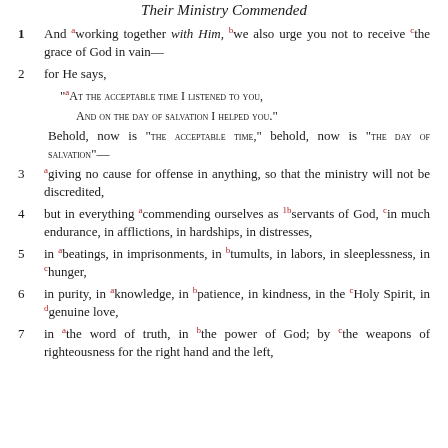Their Ministry Commended
1 And working together with Him, we also urge you not to receive the grace of God in vain—
2 for He says,
"At the acceptable time I listened to you, And on the day of salvation I helped you." Behold, now is "the acceptable time," behold, now is "the day of salvation"—
3 giving no cause for offense in anything, so that the ministry will not be discredited,
4 but in everything commending ourselves as servants of God, in much endurance, in afflictions, in hardships, in distresses,
5 in beatings, in imprisonments, in tumults, in labors, in sleeplessness, in hunger,
6 in purity, in knowledge, in patience, in kindness, in the Holy Spirit, in genuine love,
7 in the word of truth, in the power of God; by the weapons of righteousness for the right hand and the left,